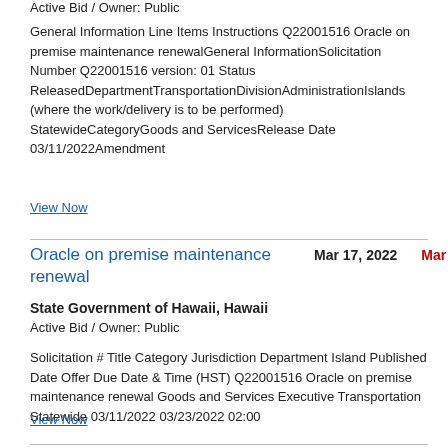Active Bid / Owner: Public
General Information Line Items Instructions Q22001516 Oracle on premise maintenance renewalGeneral InformationSolicitation Number Q22001516 version: 01 Status ReleasedDepartmentTransportationDivisionAdministrationIslands (where the work/delivery is to be performed) StatewideCategoryGoods and ServicesRelease Date 03/11/2022Amendment
View Now
Oracle on premise maintenance renewal
Mar 17, 2022
Mar 23, 2022
State Government of Hawaii, Hawaii
Active Bid / Owner: Public
Solicitation # Title Category Jurisdiction Department Island Published Date Offer Due Date & Time (HST) Q22001516 Oracle on premise maintenance renewal Goods and Services Executive Transportation Statewide 03/11/2022 03/23/2022 02:00
View Now
Oracle on premise maintenance renewal
Mar 11, 2022
Mar 21, 2022